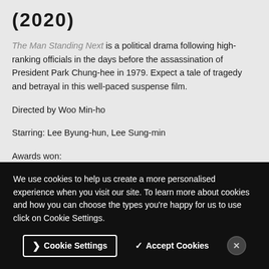(2020)
The Man Standing Next is a political drama following high-ranking officials in the days before the assassination of President Park Chung-hee in 1979. Expect a tale of tragedy and betrayal in this well-paced suspense film.
Directed by Woo Min-ho
Starring: Lee Byung-hun, Lee Sung-min
Awards won:
We use cookies to help us create a more personalised experience when you visit our site. To learn more about cookies and how you can choose the types you're happy for us to use click on Cookie Settings.
Cookie Settings
Accept Cookies